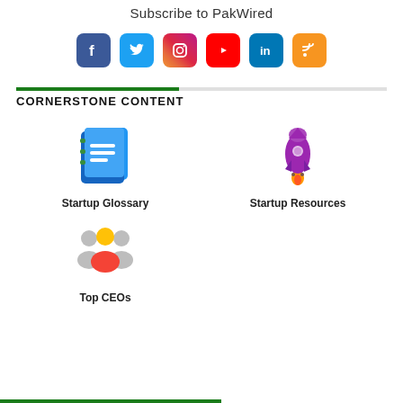Subscribe to PakWired
[Figure (infographic): Social media icons: Facebook, Twitter, Instagram, YouTube, LinkedIn, RSS]
CORNERSTONE CONTENT
[Figure (illustration): Notebook/glossary icon]
Startup Glossary
[Figure (illustration): Rocket icon]
Startup Resources
[Figure (illustration): People/team icon]
Top CEOs